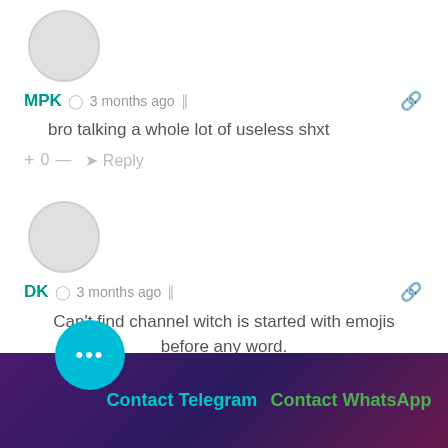[Figure (illustration): Gray circle avatar placeholder for user MPK]
MPK  3 months ago
bro talking a whole lot of useless shxt
+ 0 —   Reply
[Figure (illustration): Gray circle avatar placeholder for user DK]
DK  3 months ago
Can't find channel witch is started with emojis before any word. Any one have any idea
+ 0 —   Reply
Contact Telegram   Contact WhatsApp